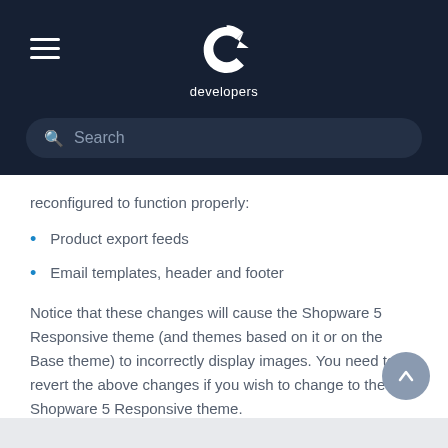developers
reconfigured to function properly:
Product export feeds
Email templates, header and footer
Notice that these changes will cause the Shopware 5 Responsive theme (and themes based on it or on the Base theme) to incorrectly display images. You need to revert the above changes if you wish to change to the Shopware 5 Responsive theme.